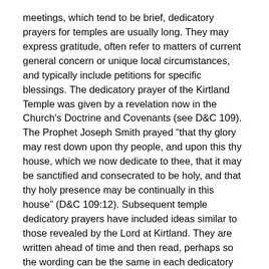meetings, which tend to be brief, dedicatory prayers for temples are usually long. They may express gratitude, often refer to matters of current general concern or unique local circumstances, and typically include petitions for specific blessings. The dedicatory prayer of the Kirtland Temple was given by a revelation now in the Church's Doctrine and Covenants (see D&C 109). The Prophet Joseph Smith prayed "that thy glory may rest down upon thy people, and upon this thy house, which we now dedicate to thee, that it may be sanctified and consecrated to be holy, and that thy holy presence may be continually in this house" (D&C 109:12). Subsequent temple dedicatory prayers have included ideas similar to those revealed by the Lord at Kirtland. They are written ahead of time and then read, perhaps so the wording can be the same in each dedicatory session.
President McKay introduced the dedicatory prayer for the Oakland Temple by saying, "It is now my privilege to represent you, and all the Church in the giving of your efforts, in giving what you have produced to our Lord and Savior Jesus Christ for the glory of his works."
After addressing our Heavenly Father, President McKay petitioned, "Help us to free our minds from idle thoughts, and